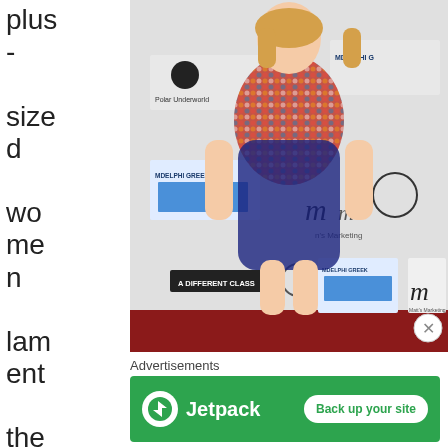plus - sized women lament the horrible pattern
[Figure (photo): A plus-sized woman wearing a colorful sequined wrap dress standing on a red carpet in front of a step-and-repeat banner featuring logos for Delphi Greek Restaurant, Polar Underworld, A Different Class, Matt's Marketing, and other sponsors.]
Advertisements
[Figure (screenshot): Jetpack advertisement banner: green background with Jetpack logo and 'Back up your site' button]